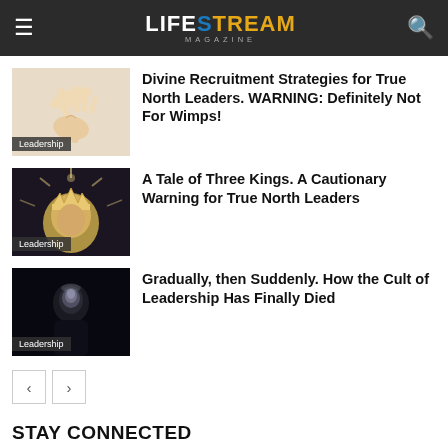LIFESTREAM MAGAZINE
[Figure (photo): Hand reaching down from above, divine light, article thumbnail for leadership article]
Divine Recruitment Strategies for True North Leaders. WARNING: Definitely Not For Wimps!
[Figure (photo): Golden king statue with crown and rays, dark background, leadership article thumbnail]
A Tale of Three Kings. A Cautionary Warning for True North Leaders
[Figure (photo): Shadowy male figure with light on face, dark background, leadership article thumbnail]
Gradually, then Suddenly. How the Cult of Leadership Has Finally Died
STAY CONNECTED